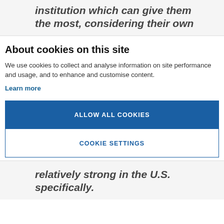institution which can give them the most, considering their own
About cookies on this site
We use cookies to collect and analyse information on site performance and usage, and to enhance and customise content.
Learn more
ALLOW ALL COOKIES
COOKIE SETTINGS
relatively strong in the U.S. specifically.